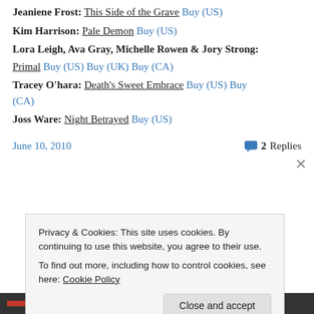Jeaniene Frost: This Side of the Grave Buy (US)
Kim Harrison: Pale Demon Buy (US)
Lora Leigh, Ava Gray, Michelle Rowen & Jory Strong: Primal Buy (US) Buy (UK) Buy (CA)
Tracey O'hara: Death's Sweet Embrace Buy (US) Buy (CA)
Joss Ware: Night Betrayed Buy (US)
June 10, 2010   2 Replies
Privacy & Cookies: This site uses cookies. By continuing to use this website, you agree to their use. To find out more, including how to control cookies, see here: Cookie Policy